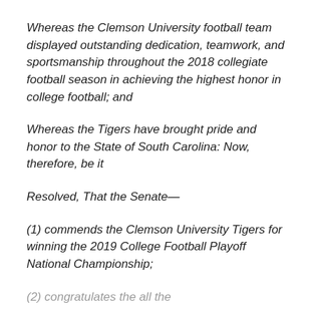Whereas the Clemson University football team displayed outstanding dedication, teamwork, and sportsmanship throughout the 2018 collegiate football season in achieving the highest honor in college football; and
Whereas the Tigers have brought pride and honor to the State of South Carolina: Now, therefore, be it
Resolved, That the Senate—
(1) commends the Clemson University Tigers for winning the 2019 College Football Playoff National Championship;
(2) congratulates the all the [partially visible]